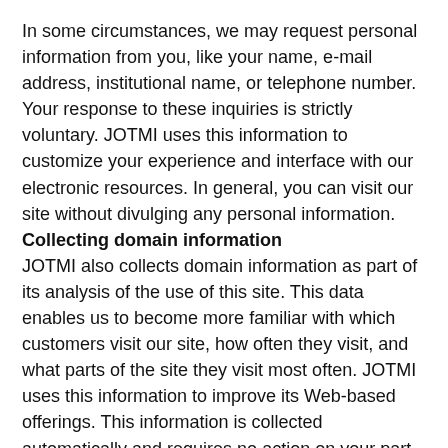In some circumstances, we may request personal information from you, like your name, e-mail address, institutional name, or telephone number. Your response to these inquiries is strictly voluntary. JOTMI uses this information to customize your experience and interface with our electronic resources. In general, you can visit our site without divulging any personal information.
Collecting domain information
JOTMI also collects domain information as part of its analysis of the use of this site. This data enables us to become more familiar with which customers visit our site, how often they visit, and what parts of the site they visit most often. JOTMI uses this information to improve its Web-based offerings. This information is collected automatically and requires no action on your part.